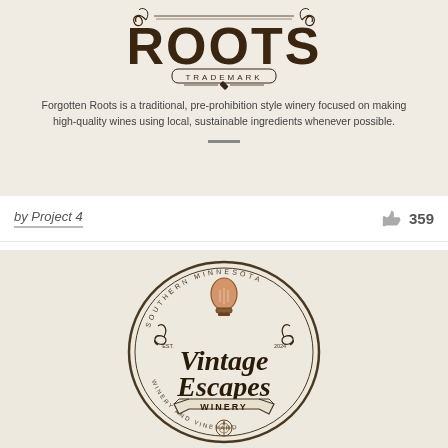[Figure (logo): Forgotten Roots Trademark logo — vintage style with large bold ROOTS lettering, ornamental flourishes, and diamond/scroll decorations on a warm beige background]
Forgotten Roots is a traditional, pre-prohibition style winery focused on making high-quality wines using local, sustainable ingredients whenever possible.
by Project 4
359
[Figure (logo): Vintage Escapes Winery logo — ornate oval badge with script lettering reading 'Vintage Escapes WINERY', featuring a vintage Edison bulb at top, decorative scrollwork, banner ribbon, and text reading 'Southern Minnesota', 'EST. 2024', 'Winery and Vineyard']